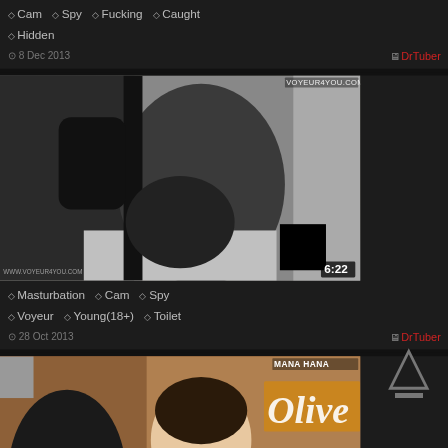◇ Cam  ◇ Spy  ◇ Fucking  ◇ Caught  ◇ Hidden
8 Dec 2013   DrTuber
[Figure (screenshot): Grayscale security/voyeur camera thumbnail showing a person in dark clothing. Duration overlay 6:22. Watermark VOYEUR4YOU.COM. WWW.VOYEUR4YOU.COM bottom left. Black blurred box bottom-right.]
◇ Masturbation  ◇ Cam  ◇ Spy  ◇ Voyeur  ◇ Young(18+)  ◇ Toilet
28 Oct 2013   DrTuber
[Figure (screenshot): Color photo thumbnail of a young woman with dark hair in a store/restaurant setting with 'Olive' signage. Blurred face block on left.  Watermark MANA HANA top right.]